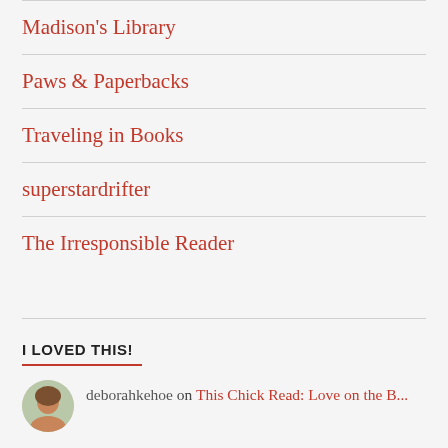Madison's Library
Paws & Paperbacks
Traveling in Books
superstardrifter
The Irresponsible Reader
I LOVED THIS!
deborahkehoe on This Chick Read: Love on the B...